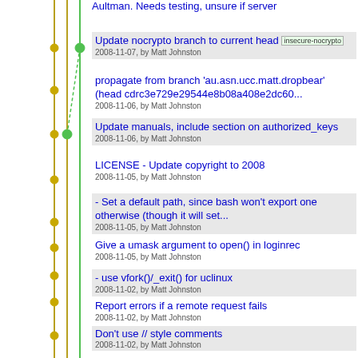[Figure (other): Version control timeline/log screenshot showing a branching commit graph on the left with green and yellow/olive colored lines and dot markers, alongside a list of commit messages and metadata.]
Update nocrypto branch to current head
2008-11-07, by Matt Johnston  [insecure-nocrypto]
propagate from branch 'au.asn.ucc.matt.dropbear' (head cdrc3e729e29544e8b08a408e2dc60...)
2008-11-06, by Matt Johnston
Update manuals, include section on authorized_keys
2008-11-06, by Matt Johnston
LICENSE - Update copyright to 2008
2008-11-05, by Matt Johnston
- Set a default path, since bash won't export one otherwise (though it will set...
2008-11-05, by Matt Johnston
Give a umask argument to open() in loginrec
2008-11-05, by Matt Johnston
- use vfork()/_exit() for uclinux
2008-11-02, by Matt Johnston
Report errors if a remote request fails
2008-11-02, by Matt Johnston
Don't use // style comments
2008-11-02, by Matt Johnston
- Get rid of blowfish and twofish CTR since they weren't likely
2008-09-29, by Matt Johnston
- Add Counter Mode support
2008-09-29, by Matt Johnston